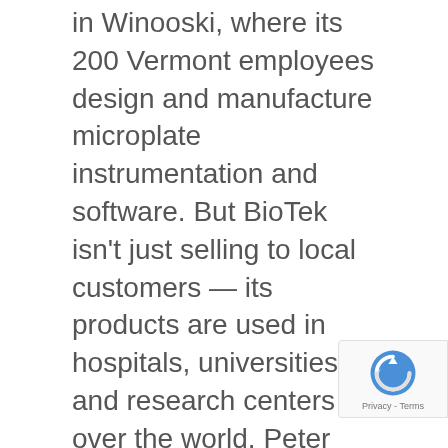in Winooski, where its 200 Vermont employees design and manufacture microplate instrumentation and software. But BioTek isn't just selling to local customers — its products are used in hospitals, universities and research centers all over the world. Peter Weith, vice president of marketing, sales and service, reports that approximately half of the company's revenue comes from clients outside the U.S.
That's not so unusual in the Green Mountain State — in 2012, Vermont companies like BioTek exported $4.1 billion worth of goods to foreign customers.
The 45-year-old, family-owned firm may be producing its goods in Vermont, but it isn't selling them to international customers from its Onion